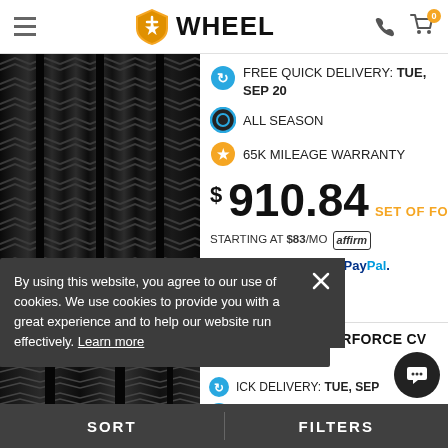WHEEL
FREE QUICK DELIVERY: TUE, SEP 20
ALL SEASON
65K MILEAGE WARRANTY
$910.84 SET OF FOUR
STARTING AT $83/MO affirm
As low as $45.47/mo with PayPal. Learn more
FIRESTONE WINTERFORCE CV (27.5X7.7R 16)
ICK DELIVERY: TUE, SEP
WINTER
MANUFACTURER MILE...
By using this website, you agree to our use of cookies. We use cookies to provide you with a great experience and to help our website run effectively. Learn more
SORT    FILTERS